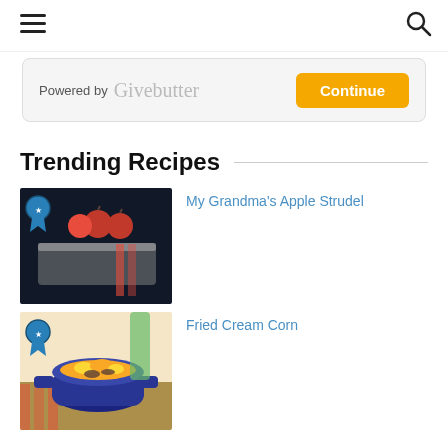Navigation header with hamburger menu and search icon
Powered by Givebutter  [Continue button]
Trending Recipes
[Figure (photo): Apple strudel recipe photo showing apples on a baking tray with a blue ribbon badge]
My Grandma's Apple Strudel
[Figure (photo): Fried Cream Corn recipe photo showing corn dish in a blue pot with a blue ribbon badge]
Fried Cream Corn